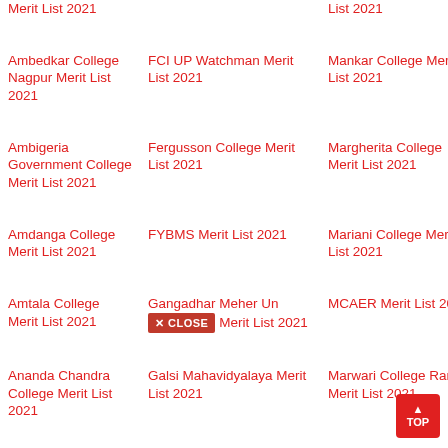Merit List 2021
List 2021
Ambedkar College Nagpur Merit List 2021
FCI UP Watchman Merit List 2021
Mankar College Merit List 2021
Savitri Girl College M List 2021
Ambigeria Government College Merit List 2021
Fergusson College Merit List 2021
Margherita College Merit List 2021
SB Deoral College M List 2021
Amdanga College Merit List 2021
FYBMS Merit List 2021
Mariani College Merit List 2021
Scottish C College M List 2021
Amtala College Merit List 2021
Gangadhar Meher University Merit List 2021
MCAER Merit List 2021
SGGU Me 2021
Ananda Chandra College Merit List 2021
Galsi Mahavidyalaya Merit List 2021
Marwari College Ranchi Merit List 2021
SDSM Me List 2021